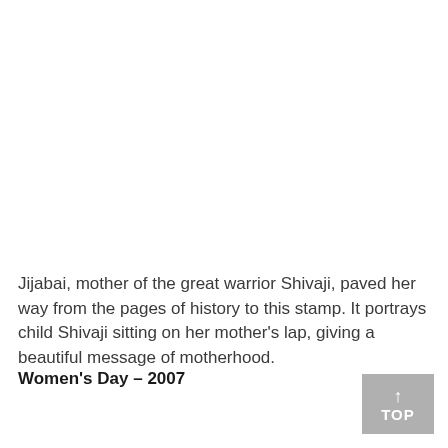Jijabai, mother of the great warrior Shivaji, paved her way from the pages of history to this stamp. It portrays child Shivaji sitting on her mother's lap, giving a beautiful message of motherhood.
Women's Day – 2007